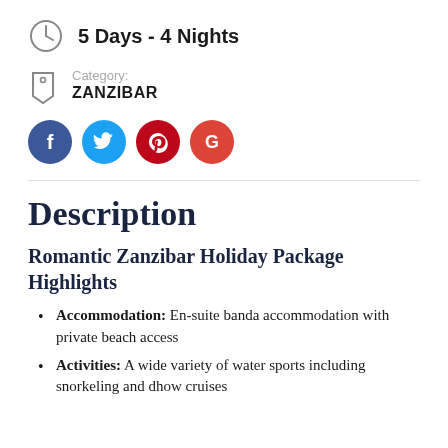5 Days - 4 Nights
Category: ZANZIBAR
[Figure (illustration): Social media share buttons: Facebook (blue), Twitter (light blue), Pinterest (dark red), Google (red-orange)]
Description
Romantic Zanzibar Holiday Package Highlights
Accommodation: En-suite banda accommodation with private beach access
Activities: A wide variety of water sports including snorkeling and dhow cruises